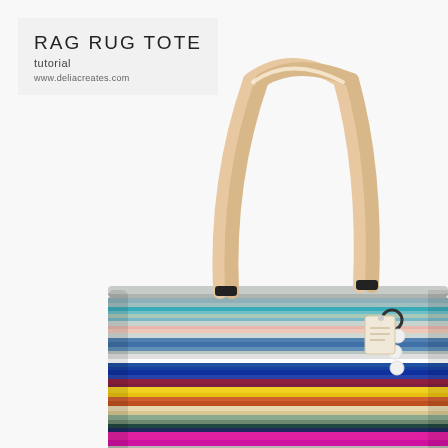[Figure (photo): A colorful rag rug tote bag with horizontal multicolor stripes (teal, blue, yellow, pink, magenta, cream, green, burgundy, etc.) made from woven rag rug material. The bag has a natural/tan leather strap handle and a decorative charm with white beads and a small tag. The bag sits on a white reflective surface. Background is white.]
RAG RUG TOTE
tutorial
www.deliacreates.com